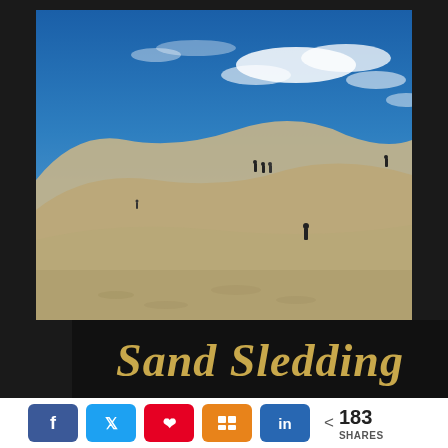[Figure (photo): Photo of large sand dunes under a vivid blue sky with wispy clouds. Several small human figures are visible on the dunes. The sand is tan/beige. Title overlay at bottom reads 'Sand Sledding' in gold serif font on a black background bar.]
Sand Sledding
< 183 SHARES (social share buttons: Facebook, Twitter, Pinterest, Mix, LinkedIn)